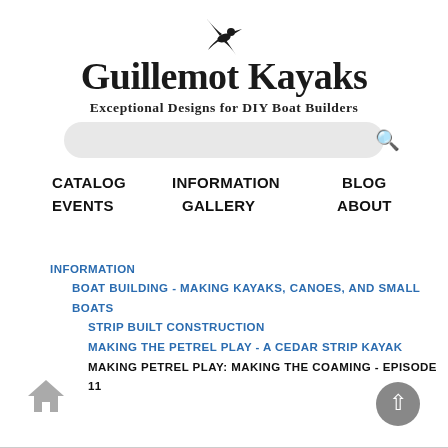[Figure (logo): Small black stylized bird/guillemot logo]
Guillemot Kayaks
Exceptional Designs for DIY Boat Builders
[Figure (other): Search bar with search icon]
CATALOG
INFORMATION
BLOG
EVENTS
GALLERY
ABOUT
INFORMATION
BOAT BUILDING - MAKING KAYAKS, CANOES, AND SMALL BOATS
STRIP BUILT CONSTRUCTION
MAKING THE PETREL PLAY - A CEDAR STRIP KAYAK
MAKING PETREL PLAY: MAKING THE COAMING - EPISODE 11